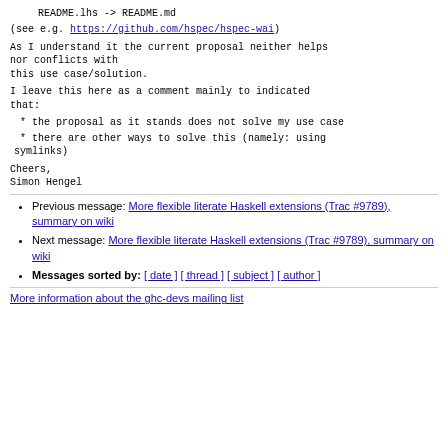README.lhs -> README.md
(see e.g. https://github.com/hspec/hspec-wai)
As I understand it the current proposal neither helps nor conflicts with
this use case/solution.
I leave this here as a comment mainly to indicated that:
* the proposal as it stands does not solve my use case
* there are other ways to solve this (namely: using symlinks)
Cheers,
Simon Hengel
Previous message: More flexible literate Haskell extensions (Trac #9789), summary on wiki
Next message: More flexible literate Haskell extensions (Trac #9789), summary on wiki
Messages sorted by: [ date ] [ thread ] [ subject ] [ author ]
More information about the ghc-devs mailing list